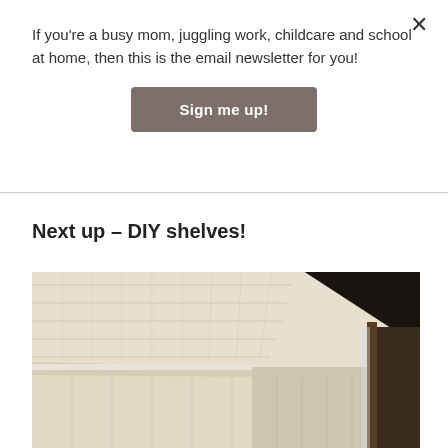If you're a busy mom, juggling work, childcare and school at home, then this is the email newsletter for you!
Sign me up!
Next up – DIY shelves!
[Figure (photo): Interior photo of a room with white beadboard paneling on walls and ceiling, showing a corner where walls meet, with wooden structure visible on the right side in shadow.]